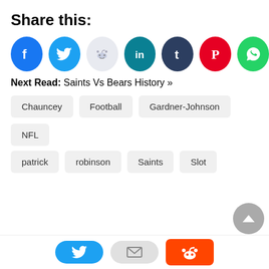Share this:
[Figure (infographic): Row of social media share icon circles: Facebook (blue), Twitter (light blue), Reddit (light gray/blue), LinkedIn (teal), Tumblr (dark navy), Pinterest (red), WhatsApp (green)]
Next Read: Saints Vs Bears History »
Chauncey
Football
Gardner-Johnson
NFL
patrick
robinson
Saints
Slot
[Figure (infographic): Bottom bar with Twitter bird icon (blue pill), email icon (gray pill), Reddit alien icon (orange rounded rectangle)]